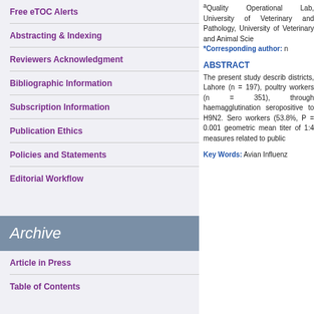Free eTOC Alerts
Abstracting & Indexing
Reviewers Acknowledgment
Bibliographic Information
Subscription Information
Publication Ethics
Policies and Statements
Editorial Workflow
Archive
Article in Press
Table of Contents
aQuality Operational Lab, University of Veterinary and Pathology, University of Veterinary and Animal Sciences. *Corresponding author: n
ABSTRACT
The present study describes districts, Lahore (n = 197), poultry workers (n = 351), through haemagglutination seropositive to H9N2. Sero workers (53.8%, P = 0.001 geometric mean titer of 1:4 measures related to public
Key Words: Avian Influenz